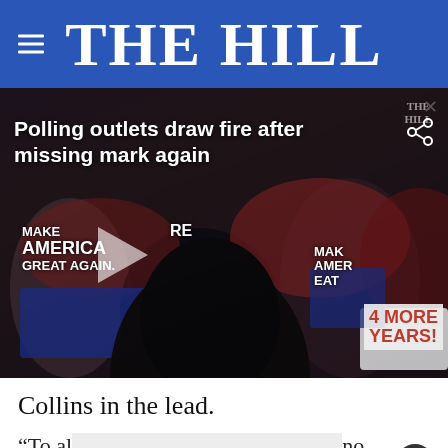THE HILL
[Figure (screenshot): Video thumbnail showing a crowd of Trump supporters at a rally with MAGA signs. Overlay text reads 'Polling outlets draw fire after missing mark again'. The Hill watermark is visible in the top right corner. A play button is visible in the lower left area of the video.]
Collins in the lead.
“To all the pollsters, mo idea ... is election night victory speech
[Figure (other): Advertisement banner: 'View store hours, get directions, or call your salon!' with HC logo and navigation arrow icon.]